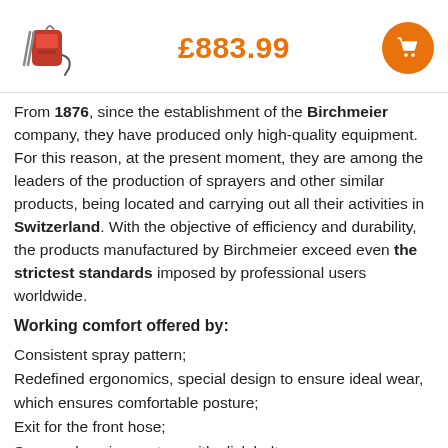[Figure (photo): Red backpack sprayer product image]
£883.99
[Figure (other): Orange circular shopping cart button icon]
From 1876, since the establishment of the Birchmeier company, they have produced only high-quality equipment. For this reason, at the present moment, they are among the leaders of the production of sprayers and other similar products, being located and carrying out all their activities in Switzerland. With the objective of efficiency and durability, the products manufactured by Birchmeier exceed even the strictest standards imposed by professional users worldwide.
Working comfort offered by:
Consistent spray pattern;
Redefined ergonomics, special design to ensure ideal wear, which ensures comfortable posture;
Exit for the front hose;
Secure clamping system with click belt;
Recessed fasteners;
Simple height adjustment system when wearing;
System for removing batteries quickly and efficiently;